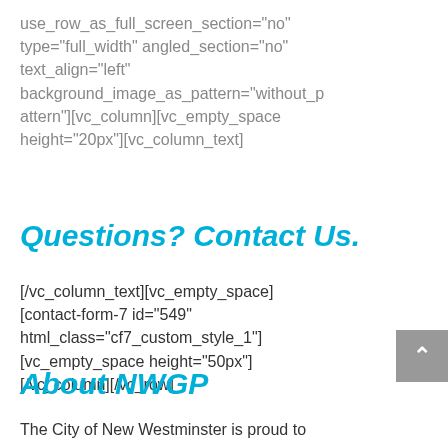use_row_as_full_screen_section="no" type="full_width" angled_section="no" text_align="left" background_image_as_pattern="without_pattern"][vc_column][vc_empty_space height="20px"][vc_column_text]
Questions? Contact Us.
[/vc_column_text][vc_empty_space] [contact-form-7 id="549" html_class="cf7_custom_style_1"] [vc_empty_space height="50px"] [/vc_column][/vc_row]
About NWGP
The City of New Westminster is proud to